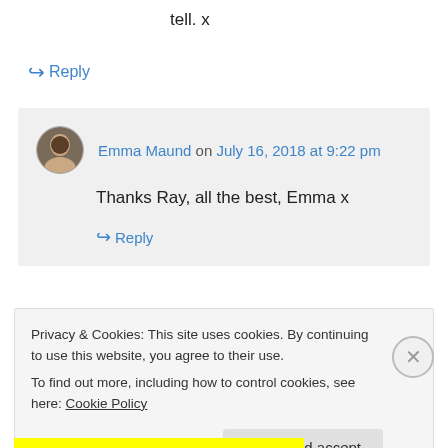tell. x
↪ Reply
Emma Maund on July 16, 2018 at 9:22 pm
Thanks Ray, all the best, Emma x
↪ Reply
Privacy & Cookies: This site uses cookies. By continuing to use this website, you agree to their use.
To find out more, including how to control cookies, see here: Cookie Policy
Close and accept